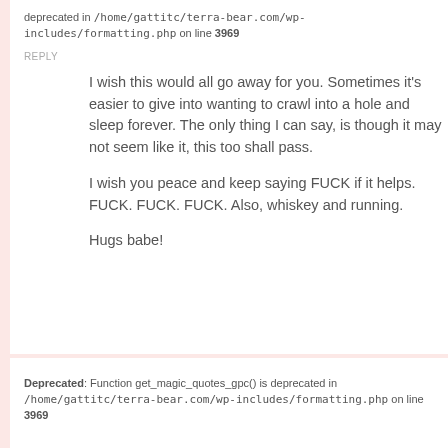deprecated in /home/gattitc/terra-bear.com/wp-includes/formatting.php on line 3969
REPLY
I wish this would all go away for you. Sometimes it's easier to give into wanting to crawl into a hole and sleep forever. The only thing I can say, is though it may not seem like it, this too shall pass.

I wish you peace and keep saying FUCK if it helps. FUCK. FUCK. FUCK. Also, whiskey and running.

Hugs babe!
Deprecated: Function get_magic_quotes_gpc() is deprecated in /home/gattitc/terra-bear.com/wp-includes/formatting.php on line 3969